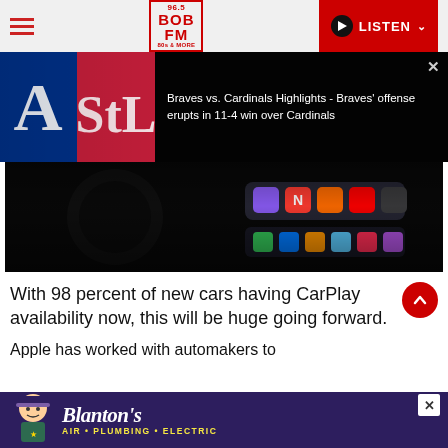96.5 BOB FM 80s & MORE — LISTEN
[Figure (screenshot): Video thumbnail showing Braves vs Cardinals baseball logos on dark background with overlay text: Braves vs. Cardinals Highlights - Braves' offense erupts in 11-4 win over Cardinals]
[Figure (screenshot): Dark article header image showing Apple CarPlay interface with app icons on a dark background]
With 98 percent of new cars having CarPlay availability now, this will be huge going forward.
Apple has worked with automakers to
[Figure (advertisement): Blanton's Air Plumbing Electric advertisement banner on purple background]